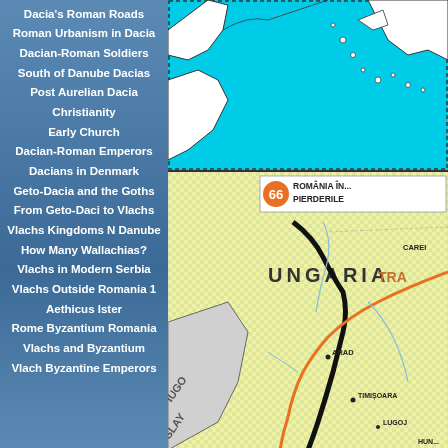Dacia's Roman Roads
Roman Urbanism in Dacia
Dacian-Roman Soldiers
South of Danube Dacias
Post Aurelian Dacia
Christianity
Early Church
Dacian-Roman Emperors
Dacians in Denmark
Geto-Dacia and the Goths
From Geto-Daci to Vlachs
Vlachs Kingdoms N Danube
How Many Wallachias?
Vlachs in Modern Serbia
Vlachs Outside Romania 1
Aethicus Ister
Rome Byzantium Romania
Vlachs and Byzantium
Vlach Byzantine Emperors
[Figure (map): Top map showing coastline with cyan/turquoise water background, land masses in white with black outlines]
[Figure (map): Bottom map labeled 'ROMÂNIA ÎN... PIERDERILE' with map number 66, showing yellow/green checkered land for UNGARIA region with thick black border, orange road, cities CAREI, ARAD, TIMIȘOARA, LUGOJ, HUNEDOARA labeled, IUGOSLAVIA region shown, TRA... label visible]